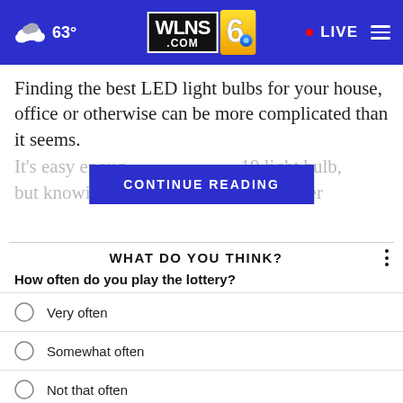63° WLNS6.com LIVE
Finding the best LED light bulbs for your house, office or otherwise can be more complicated than it seems.
It's easy enough [CONTINUE READING] 19 light bulb, but knowing a[...] and whether
WHAT DO YOU THINK?
How often do you play the lottery?
Very often
Somewhat often
Not that often
Not often at all
Other/Doesn't apply